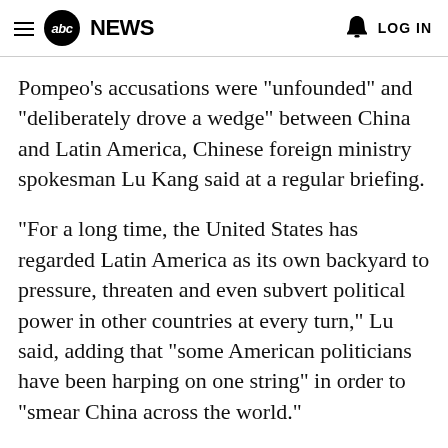abc NEWS  LOG IN
Pompeo's accusations were "unfounded" and "deliberately drove a wedge" between China and Latin America, Chinese foreign ministry spokesman Lu Kang said at a regular briefing.
"For a long time, the United States has regarded Latin America as its own backyard to pressure, threaten and even subvert political power in other countries at every turn," Lu said, adding that "some American politicians have been harping on one string" in order to "smear China across the world."
Pompeo said last Friday that China's